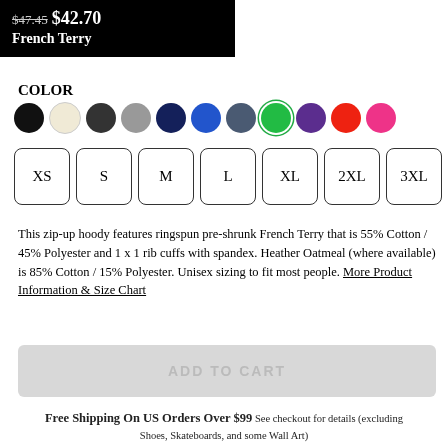$47.45 $42.70 French Terry
COLOR
[Figure (other): Color swatches: black, cream/oatmeal, dark charcoal, gray, navy, blue, slate/dark blue-gray, green (selected with ring), purple, red, pink]
[Figure (other): Size selector buttons: XS, S, M, L, XL, 2XL, 3XL]
This zip-up hoody features ringspun pre-shrunk French Terry that is 55% Cotton / 45% Polyester and 1 x 1 rib cuffs with spandex. Heather Oatmeal (where available) is 85% Cotton / 15% Polyester. Unisex sizing to fit most people. More Product Information & Size Chart
ADD TO CART
Free Shipping On US Orders Over $99 See checkout for details (excluding Shoes, Skateboards, and some Wall Art)